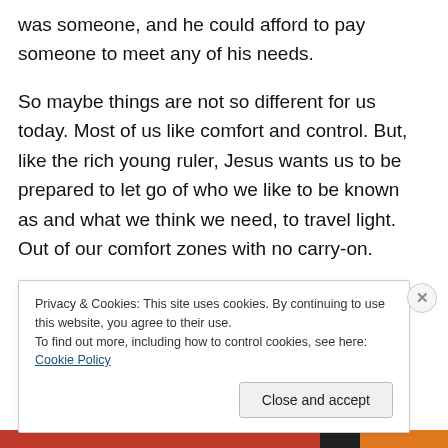was someone, and he could afford to pay someone to meet any of his needs.
So maybe things are not so different for us today. Most of us like comfort and control. But, like the rich young ruler, Jesus wants us to be prepared to let go of who we like to be known as and what we think we need, to travel light. Out of our comfort zones with no carry-on.
Photo credit: My Standard Break From
Privacy & Cookies: This site uses cookies. By continuing to use this website, you agree to their use.
To find out more, including how to control cookies, see here: Cookie Policy
Close and accept